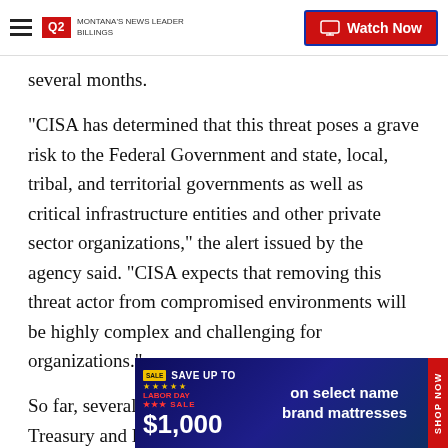Q2 Montana's News Leader | Watch Now
several months.
"CISA has determined that this threat poses a grave risk to the Federal Government and state, local, tribal, and territorial governments as well as critical infrastructure entities and other private sector organizations," the alert issued by the agency said. "CISA expects that removing this threat actor from compromised environments will be highly complex and challenging for organizations."
So far, several federal agencies, including the Treasury and Department of Energy, have indicated they were impacted and Microsoft investigations added more to
[Figure (other): Advertisement banner: Labor Day Sale - Save up to $1,000 on select name brand mattresses. Shop Now.]